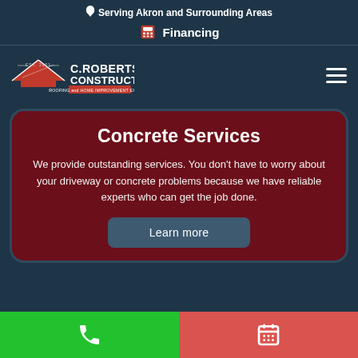Serving Akron and Surrounding Areas
Financing
[Figure (logo): C. Roberts Construction - Roofing and Home Improvement Experts logo with red roof icon, EST. 2001]
Concrete Services
We provide outstanding services. You don't have to worry about your driveway or concrete problems because we have reliable experts who can get the job done.
Learn more